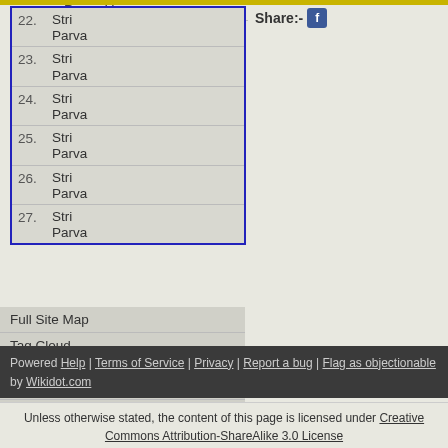Parva (truncated top)
Share:-
22. Stri Parva
23. Stri Parva
24. Stri Parva
25. Stri Parva
26. Stri Parva
27. Stri Parva
Full Site Map
Tag Cloud
For Guest-Authors
Guest Contributions
For Admin Only
Powered Help | Terms of Service | Privacy | Report a bug | Flag as objectionable by Wikidot.com
Unless otherwise stated, the content of this page is licensed under Creative Commons Attribution-ShareAlike 3.0 License